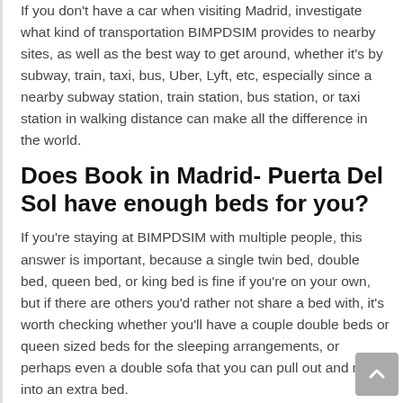If you don't have a car when visiting Madrid, investigate what kind of transportation BIMPDSIM provides to nearby sites, as well as the best way to get around, whether it's by subway, train, taxi, bus, Uber, Lyft, etc, especially since a nearby subway station, train station, bus station, or taxi station in walking distance can make all the difference in the world.
Does Book in Madrid- Puerta Del Sol have enough beds for you?
If you're staying at BIMPDSIM with multiple people, this answer is important, because a single twin bed, double bed, queen bed, or king bed is fine if you're on your own, but if there are others you'd rather not share a bed with, it's worth checking whether you'll have a couple double beds or queen sized beds for the sleeping arrangements, or perhaps even a double sofa that you can pull out and make into an extra bed.